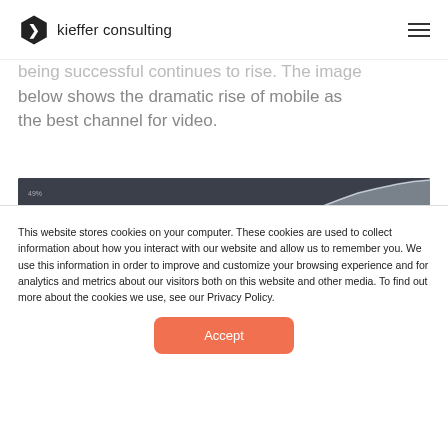kieffer consulting
being successful continues to rise. The image below shows the dramatic rise of mobile as the best channel for video.
[Figure (continuous-plot): Area chart showing the dramatic rise of mobile as the best channel for video, with multiple colored area series (gray/white and teal/blue) rising steeply over time on a dark background.]
This website stores cookies on your computer. These cookies are used to collect information about how you interact with our website and allow us to remember you. We use this information in order to improve and customize your browsing experience and for analytics and metrics about our visitors both on this website and other media. To find out more about the cookies we use, see our Privacy Policy.
Accept